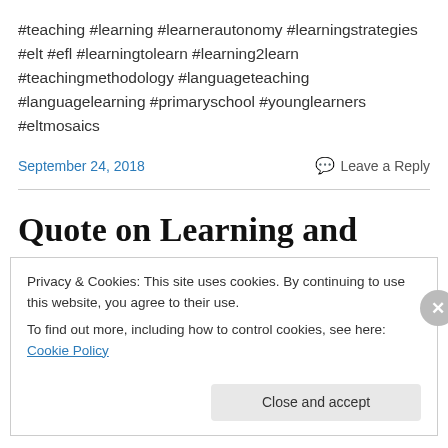#teaching #learning #learnerautonomy #learningstrategies #elt #efl #learningtolearn #learning2learn #teachingmethodology #languageteaching #languagelearning #primaryschool #younglearners #eltmosaics
September 24, 2018   Leave a Reply
Quote on Learning and
Privacy & Cookies: This site uses cookies. By continuing to use this website, you agree to their use. To find out more, including how to control cookies, see here: Cookie Policy
Close and accept